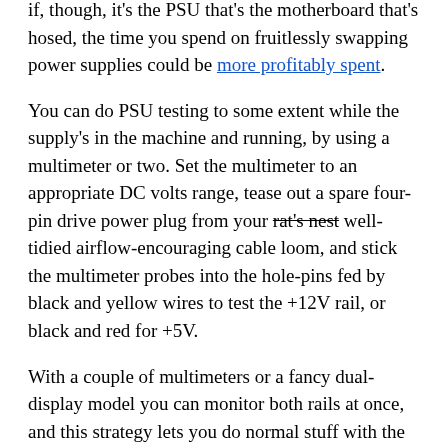if, though, it's the PSU that's the motherboard that's hosed, the time you spend on fruitlessly swapping power supplies could be more profitably spent.
You can do PSU testing to some extent while the supply's in the machine and running, by using a multimeter or two. Set the multimeter to an appropriate DC volts range, tease out a spare four-pin drive power plug from your rat's nest well-tidied airflow-encouraging cable loom, and stick the multimeter probes into the hole-pins fed by black and yellow wires to test the +12V rail, or black and red for +5V.
With a couple of multimeters or a fancy dual-display model you can monitor both rails at once, and this strategy lets you do normal stuff with the PC and see exactly what the actual rails are doing, not just what the motherboard's questionably calibrated and possibly slow-to-respond monitoring hardware thinks they're